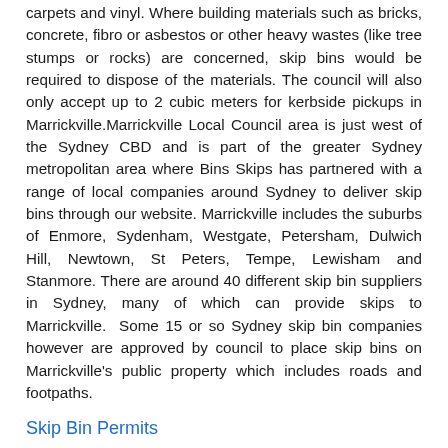carpets and vinyl. Where building materials such as bricks, concrete, fibro or asbestos or other heavy wastes (like tree stumps or rocks) are concerned, skip bins would be required to dispose of the materials. The council will also only accept up to 2 cubic meters for kerbside pickups in Marrickville.Marrickville Local Council area is just west of the Sydney CBD and is part of the greater Sydney metropolitan area where Bins Skips has partnered with a range of local companies around Sydney to deliver skip bins through our website. Marrickville includes the suburbs of Enmore, Sydenham, Westgate, Petersham, Dulwich Hill, Newtown, St Peters, Tempe, Lewisham and Stanmore. There are around 40 different skip bin suppliers in Sydney, many of which can provide skips to Marrickville.  Some 15 or so Sydney skip bin companies however are approved by council to place skip bins on Marrickville's public property which includes roads and footpaths.
Skip Bin Permits